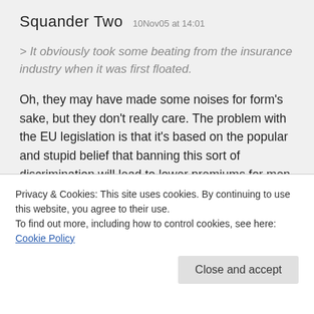Squander Two   10Nov05 at 14:01
> It obviously took some beating from the insurance industry when it was first floated.
Oh, they may have made some noises for form's sake, but they don't really care. The problem with the EU legislation is that it's based on the popular and stupid belief that banning this sort of discrimination will lead to lower premiums for men. In fact, it'll give the industry a nice convenient excuse to hike all their prices up. I wouldn't be at all surprised if some of the people behind it had big stakes in insurance
has class-based ghettos. Bet you can't name a postcode
Privacy & Cookies: This site uses cookies. By continuing to use this website, you agree to their use.
To find out more, including how to control cookies, see here: Cookie Policy
Close and accept